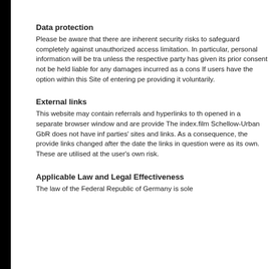Data protection
Please be aware that there are inherent security risks to safeguard completely against unauthorized access limitation. In particular, personal information will be tra unless the respective party has given its prior consent not be held liable for any damages incurred as a cons If users have the option within this Site of entering pe providing it voluntarily.
External links
This website may contain referrals and hyperlinks to th opened in a separate browser window and are provide The index.film Schellow-Urban GbR does not have inf parties' sites and links. As a consequence, the provide links changed after the date the links in question were as its own. These are utilised at the user's own risk.
Applicable Law and Legal Effectiveness
The law of the Federal Republic of Germany is sole